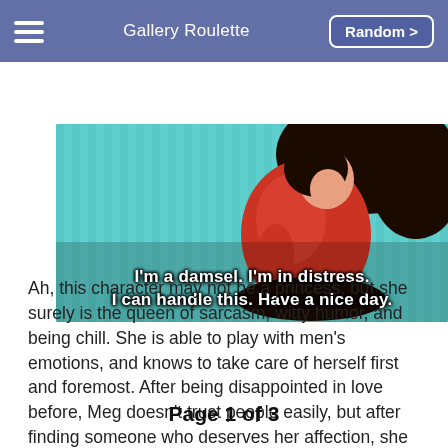Gallery Roulette  Random >
[Figure (illustration): Animated cartoon character (Meg from Hercules) in red dress crouching on a teal/aqua background, with white bold caption text: "I'm a damsel. I'm in distress. I can handle this. Have a nice day."]
Ah, this character may not be a princess, but she surely is the queen of sarcasm, witty humor, and being chill. She is able to play with men's emotions, and knows to take care of herself first and foremost. After being disappointed in love before, Meg doesn't trust people easily, but after finding someone who deserves her affection, she is ready to sacrifice herself for them.
Page 1 of 3